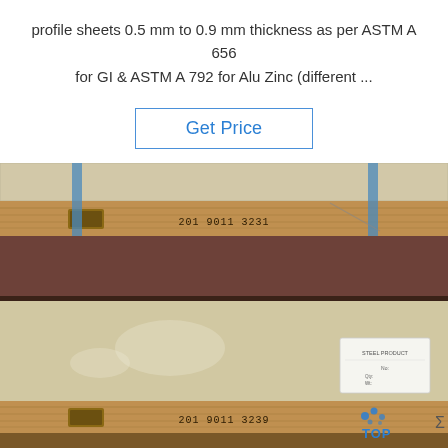profile sheets 0.5 mm to 0.9 mm thickness as per ASTM A 656 for GI & ASTM A 792 for Alu Zinc (different ...
Get Price
[Figure (photo): Stacked pallets of wrapped metal profile sheets secured with blue metal strapping bands. Wooden pallet visible. Labels showing codes '201 9011 3231' and '201 9011 3239' on wooden boards. A white product label/tag on the bottom pallet. TOP watermark logo visible bottom right.]